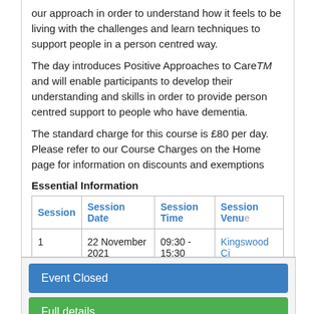our approach in order to understand how it feels to be living with the challenges and learn techniques to support people in a person centred way.
The day introduces Positive Approaches to CareTM and will enable participants to develop their understanding and skills in order to provide person centred support to people who have dementia.
The standard charge for this course is £80 per day. Please refer to our Course Charges on the Home page for information on discounts and exemptions
Essential Information
| Session | Session Date | Session Time | Session Venue |
| --- | --- | --- | --- |
| 1 | 22 November 2021 | 09:30 - 15:30 | Kingswood Ci... |
Event Closed
Full details